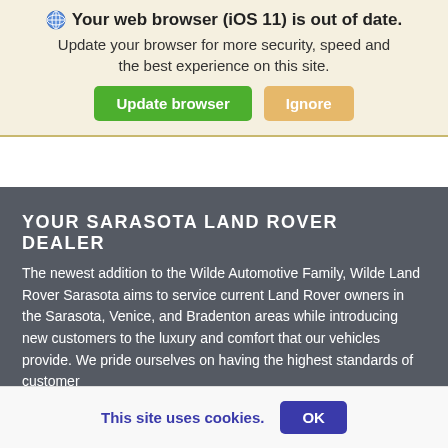🌐 Your web browser (iOS 11) is out of date. Update your browser for more security, speed and the best experience on this site. [Update browser] [Ignore]
[Figure (other): Dark grey hero/banner image area with no visible content]
YOUR SARASOTA LAND ROVER DEALER
The newest addition to the Wilde Automotive Family, Wilde Land Rover Sarasota aims to service current Land Rover owners in the Sarasota, Venice, and Bradenton areas while introducing new customers to the luxury and comfort that our vehicles provide. We pride ourselves on having the highest standards of customer
This site uses cookies. OK